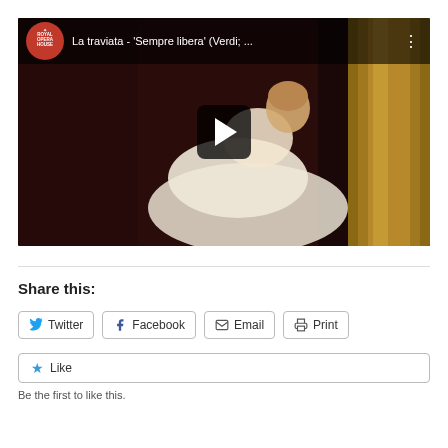[Figure (screenshot): YouTube video thumbnail for 'La traviata - Sempre libera (Verdi; ...' from Royal Opera House channel, showing a soprano in a white gown leaning against a golden column, with a play button overlay and the YouTube-style top bar with the Royal Opera House logo and video title.]
Share this:
Twitter
Facebook
Email
Print
Like
Be the first to like this.